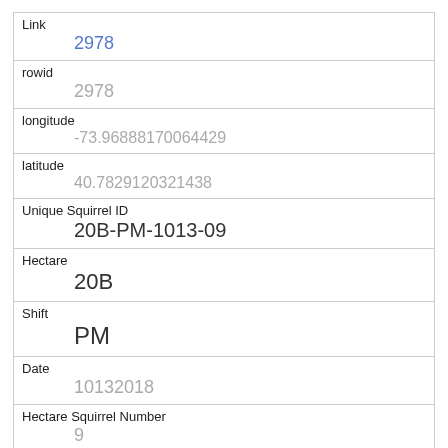| Field | Value |
| --- | --- |
| Link | 2978 |
| rowid | 2978 |
| longitude | -73.96888170064429 |
| latitude | 40.7829120321438 |
| Unique Squirrel ID | 20B-PM-1013-09 |
| Hectare | 20B |
| Shift | PM |
| Date | 10132018 |
| Hectare Squirrel Number | 9 |
| Age | Adult |